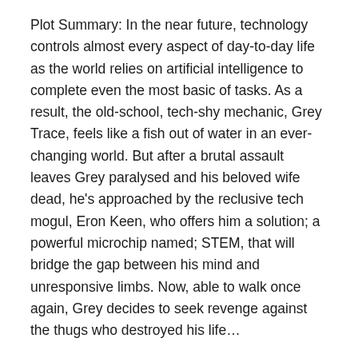Plot Summary: In the near future, technology controls almost every aspect of day-to-day life as the world relies on artificial intelligence to complete even the most basic of tasks. As a result, the old-school, tech-shy mechanic, Grey Trace, feels like a fish out of water in an ever-changing world. But after a brutal assault leaves Grey paralysed and his beloved wife dead, he's approached by the reclusive tech mogul, Eron Keen, who offers him a solution; a powerful microchip named; STEM, that will bridge the gap between his mind and unresponsive limbs. Now, able to walk once again, Grey decides to seek revenge against the thugs who destroyed his life…
Originally titled: STEM. Upgrade was Whannell's first project outside of the horror genre, being best known beforehand for his collaborations with writer-director the